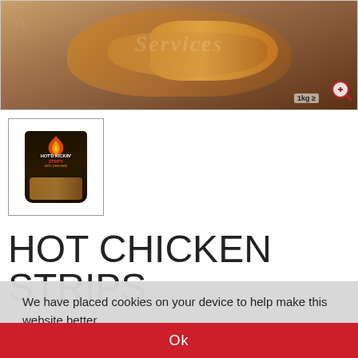[Figure (photo): Main product image showing hot chicken strips / wrap on a dark wooden background, 1kg package. Zoom icon in bottom right corner.]
[Figure (photo): Thumbnail image of the Hot Chicken Strips product packaging - dark bag with flame graphic and product branding.]
HOT CHICKEN STRIPS
We have placed cookies on your device to help make this website better.
Ok